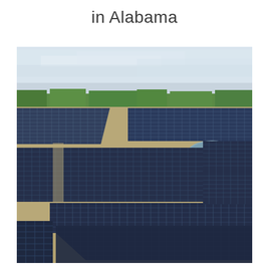in Alabama
[Figure (photo): Aerial photograph of a large solar farm in Alabama. Thousands of dark blue photovoltaic panels arranged in rows cover a vast flat area. Sandy/brown paths separate sections of panels. In the background, green trees line the horizon under a light overcast sky. A small body of water or pond is visible in the mid-right area.]